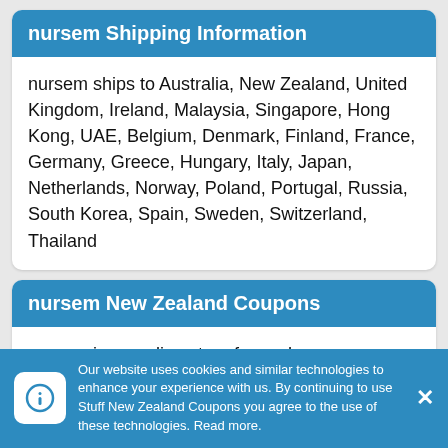nursem Shipping Information
nursem ships to Australia, New Zealand, United Kingdom, Ireland, Malaysia, Singapore, Hong Kong, UAE, Belgium, Denmark, Finland, France, Germany, Greece, Hungary, Italy, Japan, Netherlands, Norway, Poland, Portugal, Russia, South Korea, Spain, Sweden, Switzerland, Thailand
nursem New Zealand Coupons
nursem is an online store from where you can buy the finest and high quality skincare
Our website uses cookies and similar technologies to enhance your experience with us. By continuing to use Stuff New Zealand Coupons you agree to the use of these technologies. Read more.